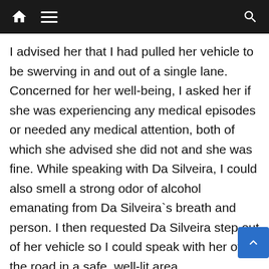[navigation bar with home, menu, and search icons]
I advised her that I had pulled her vehicle to be swerving in and out of a single lane. Concerned for her well-being, I asked her if she was experiencing any medical episodes or needed any medical attention, both of which she advised she did not and she was fine. While speaking with Da Silveira, I could also smell a strong odor of alcohol emanating from Da Silveira`s breath and person. I then requested Da Silveira step out of her vehicle so I could speak with her off the road in a safe, well-lit area.
Da Silveira then stepped outside of her vehicle and had difficulty maintaining her balance. She had almost f[allen] down a few times and had to use her vehicle to keep her